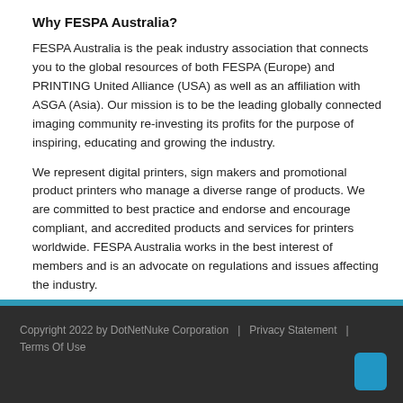Why FESPA Australia?
FESPA Australia is the peak industry association that connects you to the global resources of both FESPA (Europe) and PRINTING United Alliance (USA) as well as an affiliation with ASGA (Asia). Our mission is to be the leading globally connected imaging community re-investing its profits for the purpose of inspiring, educating and growing the industry.
We represent digital printers, sign makers and promotional product printers who manage a diverse range of products. We are committed to best practice and endorse and encourage compliant, and accredited products and services for printers worldwide. FESPA Australia works in the best interest of members and is an advocate on regulations and issues affecting the industry.
Copyright 2022 by DotNetNuke Corporation | Privacy Statement | Terms Of Use